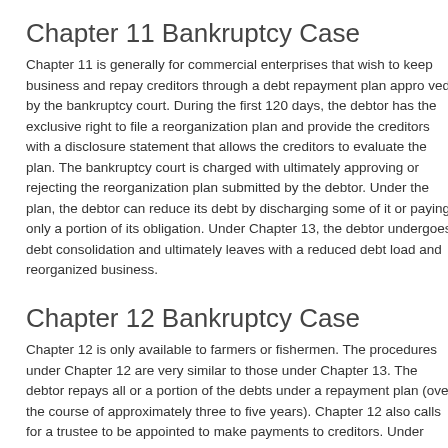Chapter 11 Bankruptcy Case
Chapter 11 is generally for commercial enterprises that wish to keep business and repay creditors through a debt repayment plan approved by the bankruptcy court. During the first 120 days, the debtor has the exclusive right to file a reorganization plan and provide the creditors with a disclosure statement that allows the creditors to evaluate the plan. The bankruptcy court is charged with ultimately approving or rejecting the reorganization plan submitted by the debtor. Under the plan, the debtor can reduce its debt by discharging some of it or paying only a portion of its obligation. Under Chapter 13, the debtor undergoes debt consolidation and ultimately leaves with a reduced debt load and reorganized business.
Chapter 12 Bankruptcy Case
Chapter 12 is only available to farmers or fishermen. The procedures under Chapter 12 are very similar to those under Chapter 13. The debtor repays all or a portion of the debts under a repayment plan (over the course of approximately three to five years). Chapter 12 also calls for a trustee to be appointed to make payments to creditors. Under Chapter 12, a farmer or fisherman can continue to operate the business while the repayment plan is carried out.